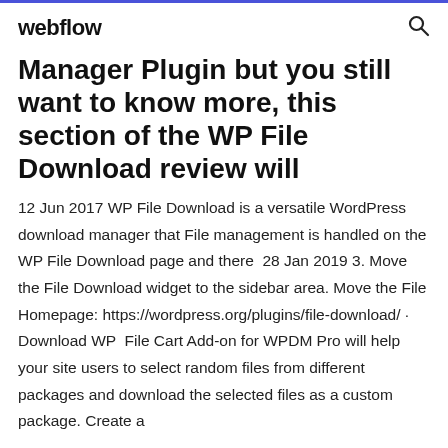webflow
Manager Plugin but you still want to know more, this section of the WP File Download review will
12 Jun 2017 WP File Download is a versatile WordPress download manager that File management is handled on the WP File Download page and there  28 Jan 2019 3. Move the File Download widget to the sidebar area. Move the File Homepage: https://wordpress.org/plugins/file-download/ · Download WP  File Cart Add-on for WPDM Pro will help your site users to select random files from different packages and download the selected files as a custom package. Create a